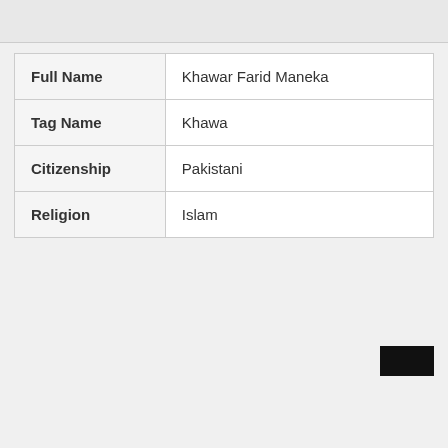| Full Name | Khawar Farid Maneka |
| Tag Name | Khawa |
| Citizenship | Pakistani |
| Religion | Islam |